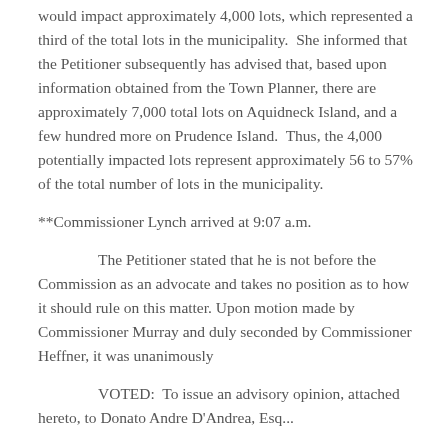would impact approximately 4,000 lots, which represented a third of the total lots in the municipality.  She informed that the Petitioner subsequently has advised that, based upon information obtained from the Town Planner, there are approximately 7,000 total lots on Aquidneck Island, and a few hundred more on Prudence Island.  Thus, the 4,000 potentially impacted lots represent approximately 56 to 57% of the total number of lots in the municipality.
**Commissioner Lynch arrived at 9:07 a.m.
The Petitioner stated that he is not before the Commission as an advocate and takes no position as to how it should rule on this matter. Upon motion made by Commissioner Murray and duly seconded by Commissioner Heffner, it was unanimously
VOTED:  To issue an advisory opinion, attached hereto, to Donato Andre D'Andrea, Esq...